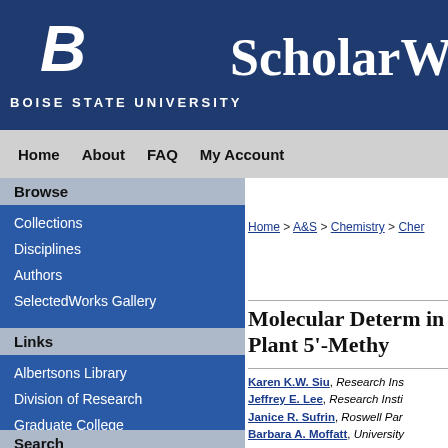BOISE STATE UNIVERSITY | ScholarW...
Home | About | FAQ | My Account
Browse
Collections
Disciplines
Authors
SelectedWorks Gallery
Links
Albertsons Library
Division of Research
Graduate College
Search
Home > A&S > Chemistry > Cher...
Molecular Determ... in Plant 5'-Methy...
Karen K.W. Siu, Research Inst...
Jeffrey E. Lee, Research Insti...
Janice R. Sufrin, Roswell Par...
Barbara A. Moffatt, University...